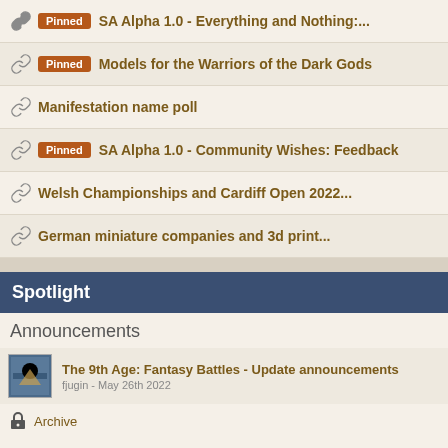SA Alpha 1.0 - Everything and Nothing:...
Pinned Models for the Warriors of the Dark Gods
Manifestation name poll
Pinned SA Alpha 1.0 - Community Wishes: Feedback
Welsh Championships and Cardiff Open 2022...
German miniature companies and 3d print...
Spotlight
Announcements
The 9th Age: Fantasy Battles - Update announcements
fjugin - May 26th 2022
Archive
Supporting Companies
LastSword Miniatures! UPDATE
LastSword - 14 hours ago
Archive
Supporting Painting Services